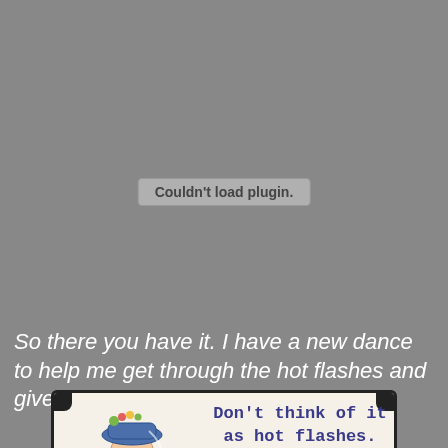Couldn't load plugin.
So there you have it. I have a new dance to help me get through the hot flashes and give me a great cardio workout to boot!
[Figure (illustration): Cartoon illustration of a woman in a wedding dress and blue hat with flowers, alongside text reading 'Don't think of it as hot flashes. think of it']